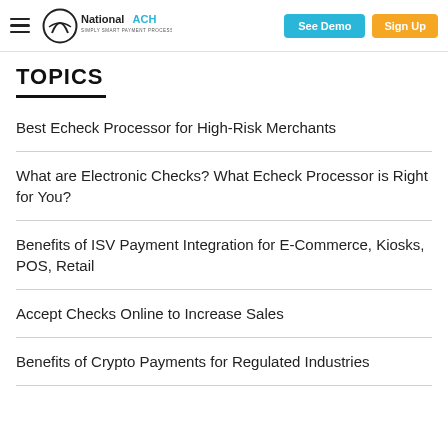National ACH — Simply Smart Payment Processing | See Demo | Sign Up
TOPICS
Best Echeck Processor for High-Risk Merchants
What are Electronic Checks? What Echeck Processor is Right for You?
Benefits of ISV Payment Integration for E-Commerce, Kiosks, POS, Retail
Accept Checks Online to Increase Sales
Benefits of Crypto Payments for Regulated Industries